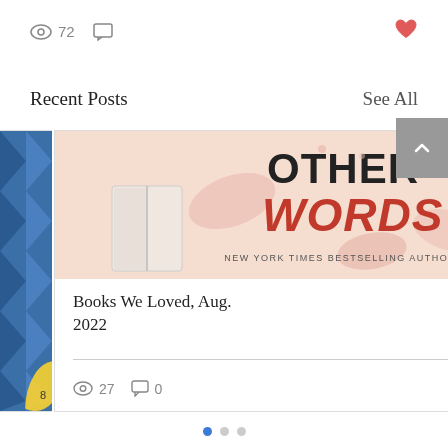[Figure (screenshot): View count icon with '72' and comment bubble icon]
[Figure (screenshot): Heart (like) icon, red/coral color, top right]
Recent Posts
See All
[Figure (photo): Book cover for 'Other Words' by New York Times Bestselling Author, showing open book, stacked books, and coffee cup on pink background]
Books We Loved, Aug. 2022
[Figure (screenshot): View count icon '27', comment bubble '0', heart icon]
[Figure (other): Left partial card with blue diamond pattern and yellow circle]
[Figure (other): Right partial card with dark teal/space background]
[Figure (other): Pagination dots: first dot active (blue), two grey dots]